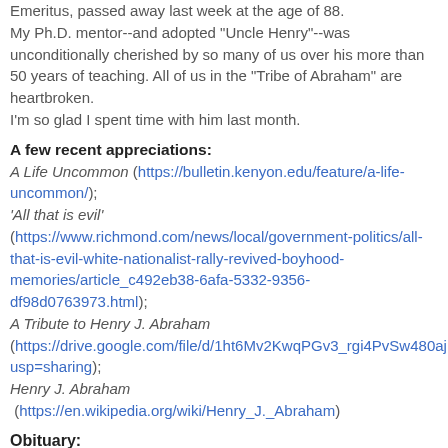Emeritus, passed away last week at the age of 88. My Ph.D. mentor--and adopted "Uncle Henry"--was unconditionally cherished by so many of us over his more than 50 years of teaching. All of us in the "Tribe of Abraham" are heartbroken.
I'm so glad I spent time with him last month.
A few recent appreciations:
A Life Uncommon (https://bulletin.kenyon.edu/feature/a-life-uncommon/);
'All that is evil'  (https://www.richmond.com/news/local/government-politics/all-that-is-evil-white-nationalist-rally-revived-boyhood-memories/article_c492eb38-6afa-5332-9356-df98d0763973.html);
A Tribute to Henry J. Abraham (https://drive.google.com/file/d/1ht6Mv2KwqPGv3_rgi4PvSw480ajEw6pw/view?usp=sharing);
Henry J. Abraham (https://en.wikipedia.org/wiki/Henry_J._Abraham)
Obituary: